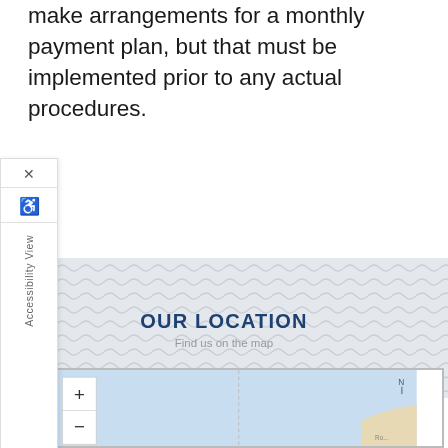make arrangements for a monthly payment plan, but that must be implemented prior to any actual procedures.
[Figure (screenshot): Accessibility View sidebar widget with X close button and wheelchair/person icon, partially overlapping a grey wave-pattern banner area]
OUR LOCATION
Find us on the map
[Figure (map): Embedded interactive map with zoom in (+) and zoom out (-) controls on the left, showing a coastal/waterfront area with blue water and a tan land section visible in the lower right corner]